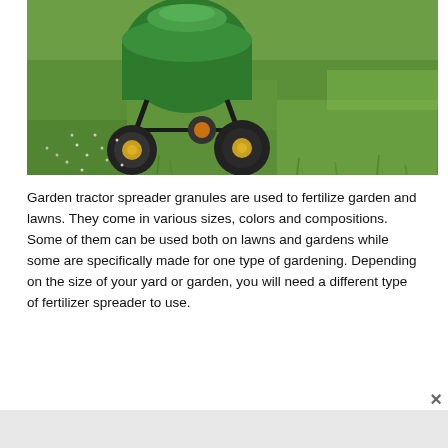[Figure (photo): A green garden tractor fertilizer spreader with black wheels and yellow wheel caps spreading granules on a lush green lawn.]
Garden tractor spreader granules are used to fertilize garden and lawns. They come in various sizes, colors and compositions. Some of them can be used both on lawns and gardens while some are specifically made for one type of gardening. Depending on the size of your yard or garden, you will need a different type of fertilizer spreader to use.